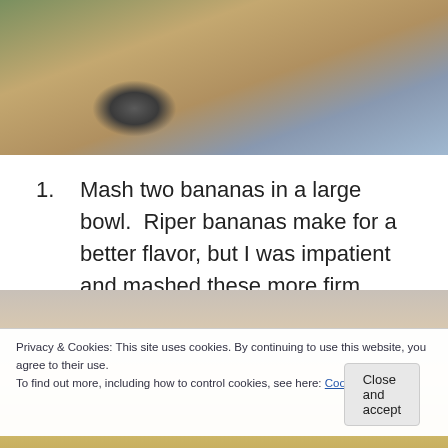[Figure (photo): Top portion of a photo showing what appears to be bananas and kitchen items on a wooden surface with a bowl or container visible]
Mash two bananas in a large bowl.  Riper bananas make for a better flavor, but I was impatient and mashed these more firm ones.
[Figure (photo): Bottom photo showing a bowl with mashed banana mixture, partially obscured by cookie consent overlay]
Privacy & Cookies: This site uses cookies. By continuing to use this website, you agree to their use.
To find out more, including how to control cookies, see here: Cookie Policy
Close and accept